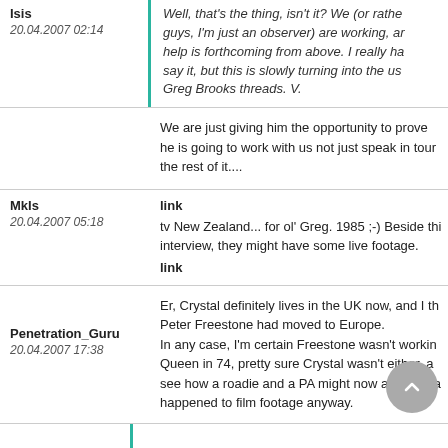Isis
20.04.2007 02:14
Well, that's the thing, isn't it? We (or rather you guys, I'm just an observer) are working, and no help is forthcoming from above. I really hate to say it, but this is slowly turning into the usual Greg Brooks threads. V.
We are just giving him the opportunity to prove he is going to work with us not just speak in tour the rest of it....
link
MkIs
20.04.2007 05:18
tv New Zealand... for ol' Greg. 1985 ;-) Beside thi interview, they might have some live footage.
link
Penetration_Guru
20.04.2007 17:38
Er, Crystal definitely lives in the UK now, and I th Peter Freestone had moved to Europe. In any case, I'm certain Freestone wasn't workin Queen in 74, pretty sure Crystal wasn't either, a see how a roadie and a PA might now about wha happened to film footage anyway.